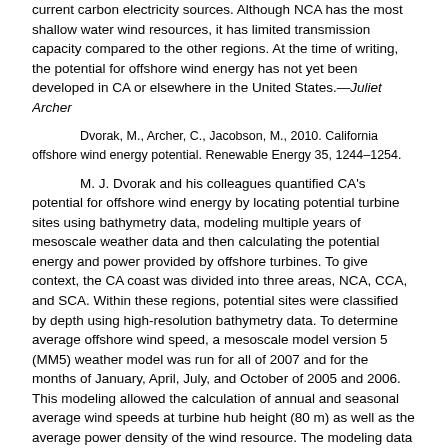current carbon electricity sources. Although NCA has the most shallow water wind resources, it has limited transmission capacity compared to the other regions. At the time of writing, the potential for offshore wind energy has not yet been developed in CA or elsewhere in the United States.—Juliet Archer
Dvorak, M., Archer, C., Jacobson, M., 2010. California offshore wind energy potential. Renewable Energy 35, 1244–1254.
M. J. Dvorak and his colleagues quantified CA's potential for offshore wind energy by locating potential turbine sites using bathymetry data, modeling multiple years of mesoscale weather data and then calculating the potential energy and power provided by offshore turbines. To give context, the CA coast was divided into three areas, NCA, CCA, and SCA. Within these regions, potential sites were classified by depth using high-resolution bathymetry data. To determine average offshore wind speed, a mesoscale model version 5 (MM5) weather model was run for all of 2007 and for the months of January, April, July, and October of 2005 and 2006. This modeling allowed the calculation of annual and seasonal average wind speeds at turbine hub height (80 m) as well as the average power density of the wind resource. The modeling data were validated using offshore weather buoy data from the National Oceanic and Atmospheric Administration (NOAA) National Data Buoy Center (NDBC) for years 1998–2008. The MM5 data very closely matched the NDBC buoy data.